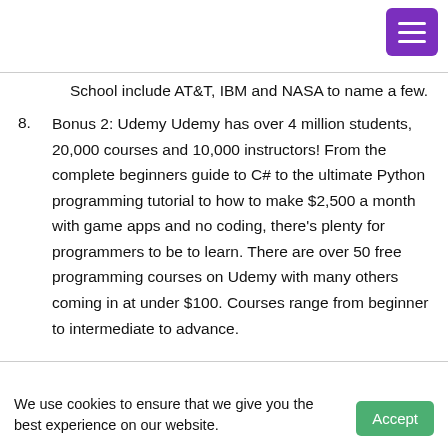School include AT&T, IBM and NASA to name a few.
8. Bonus 2: Udemy Udemy has over 4 million students, 20,000 courses and 10,000 instructors! From the complete beginners guide to C# to the ultimate Python programming tutorial to how to make $2,500 a month with game apps and no coding, there’s plenty for programmers to be to learn. There are over 50 free programming courses on Udemy with many others coming in at under $100. Courses range from beginner to intermediate to advance.
We use cookies to ensure that we give you the best experience on our website.